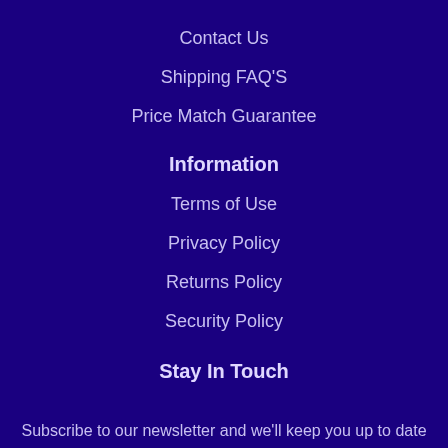Contact Us
Shipping FAQ'S
Price Match Guarantee
Information
Terms of Use
Privacy Policy
Returns Policy
Security Policy
Stay In Touch
Subscribe to our newsletter and we'll keep you up to date